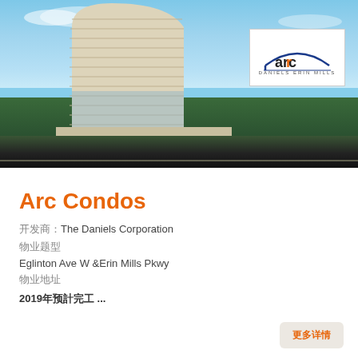[Figure (photo): Architectural rendering of Arc Condos, a curvilinear high-rise tower with horizontal banding, set against a blue sky with road in foreground. The Arc Daniels Erin Mills logo appears in a white box overlay at upper right.]
Arc Condos
開發商：The Daniels Corporation
物業類型
Eglinton Ave W &Erin Mills Pkwy
物業地址
2019年預計完工 ...
更多詳情